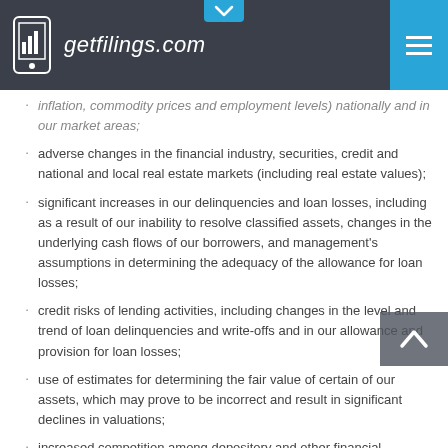getfilings.com
inflation, commodity prices and employment levels) nationally and in our market areas;
adverse changes in the financial industry, securities, credit and national and local real estate markets (including real estate values);
significant increases in our delinquencies and loan losses, including as a result of our inability to resolve classified assets, changes in the underlying cash flows of our borrowers, and management's assumptions in determining the adequacy of the allowance for loan losses;
credit risks of lending activities, including changes in the level and trend of loan delinquencies and write-offs and in our allowance and provision for loan losses;
use of estimates for determining the fair value of certain of our assets, which may prove to be incorrect and result in significant declines in valuations;
increased competition among depository and other financial